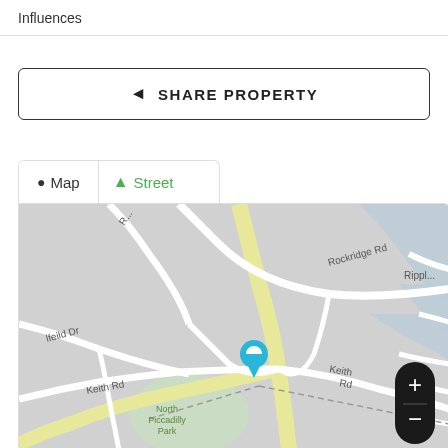Influences
SHARE PROPERTY
[Figure (map): Street map showing the property location near Keith Rd and Rockridge Rd, with a blue location pin marker. Shows North Piccadilly Park area. Tabs for Map and Street view. Zoom controls visible.]